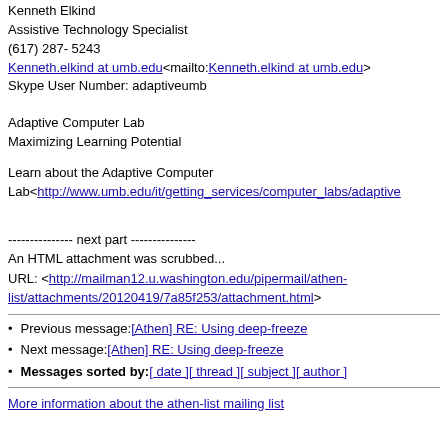Kenneth Elkind
Assistive Technology Specialist
(617) 287- 5243
Kenneth.elkind at umb.edu<mailto:Kenneth.elkind at umb.edu>
Skype User Number: adaptiveumb
Adaptive Computer Lab
Maximizing Learning Potential
Learn about the Adaptive Computer Lab<http://www.umb.edu/it/getting_services/computer_labs/adaptive
--------------- next part ---------------
An HTML attachment was scrubbed...
URL: <http://mailman12.u.washington.edu/pipermail/athen-list/attachments/20120419/7a85f253/attachment.html>
Previous message: [Athen] RE: Using deep-freeze
Next message: [Athen] RE: Using deep-freeze
Messages sorted by: [ date ] [ thread ] [ subject ] [ author ]
More information about the athen-list mailing list